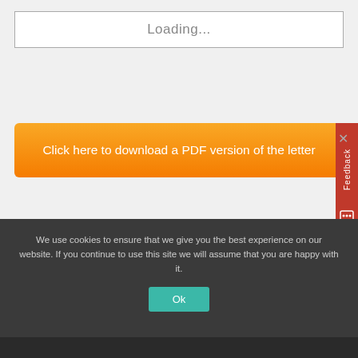Loading...
Click here to download a PDF version of the letter
Feedback
SHARE
[Figure (illustration): Social share buttons: Facebook (blue circle), Twitter (light blue circle), Google+ (red circle), green circle]
We use cookies to ensure that we give you the best experience on our website. If you continue to use this site we will assume that you are happy with it.
Ok